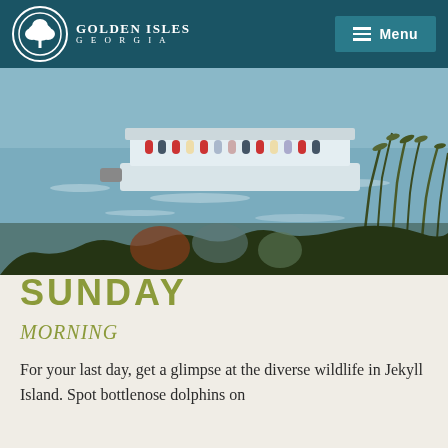Golden Isles Georgia | Menu
[Figure (photo): A pontoon tour boat filled with passengers on a coastal waterway, viewed through sea grass and reeds in the foreground, with sunlight reflecting on the water.]
SUNDAY
MORNING
For your last day, get a glimpse at the diverse wildlife in Jekyll Island. Spot bottlenose dolphins on